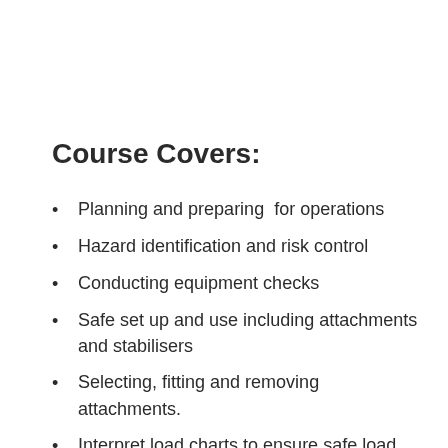Course Covers:
Planning and preparing  for operations
Hazard identification and risk control
Conducting equipment checks
Safe set up and use including attachments and stabilisers
Selecting, fitting and removing attachments.
Interpret load charts to ensure safe load shifting
Safe load movement
Fault reporting procedures
Shut down and securing of plant